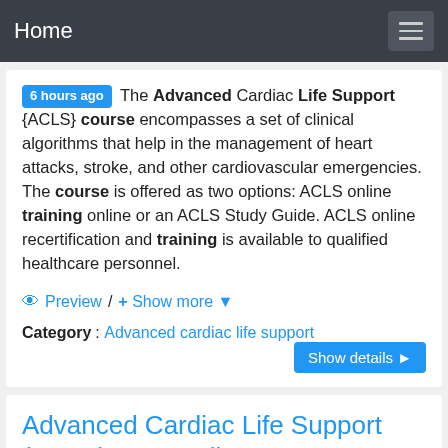Home
6 hours ago The Advanced Cardiac Life Support {ACLS} course encompasses a set of clinical algorithms that help in the management of heart attacks, stroke, and other cardiovascular emergencies. The course is offered as two options: ACLS online training online or an ACLS Study Guide. ACLS online recertification and training is available to qualified healthcare personnel.
Preview / Show more
Category: Advanced cardiac life support   Show details
Advanced Cardiac Life Support (ACLS) Free Online ...